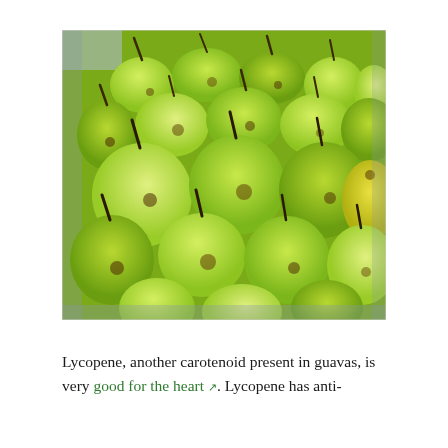[Figure (photo): A large heap of green pears with dark stems, piled in a market tray, photographed from above at a slight angle.]
Lycopene, another carotenoid present in guavas, is very good for the heart ↗. Lycopene has anti-